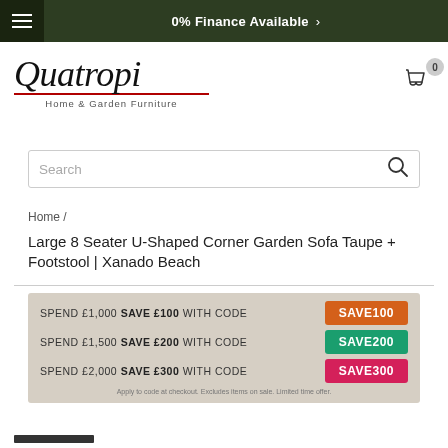0% Finance Available >
[Figure (logo): Quatropi Home & Garden Furniture logo with red underline]
Search
Home /
Large 8 Seater U-Shaped Corner Garden Sofa Taupe + Footstool | Xanado Beach
[Figure (infographic): Promotional discount banner: SPEND £1,000 SAVE £100 WITH CODE SAVE100; SPEND £1,500 SAVE £200 WITH CODE SAVE200; SPEND £2,000 SAVE £300 WITH CODE SAVE300]